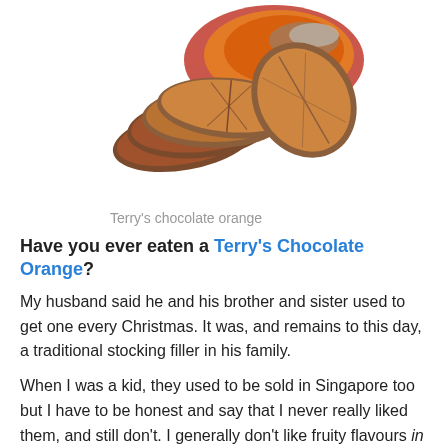[Figure (photo): Photo of Terry's Chocolate Orange pieces arranged with the orange foil wrapper, showing multiple chocolate segments fanned out]
Terry's chocolate orange
Have you ever eaten a Terry's Chocolate Orange?
My husband said he and his brother and sister used to get one every Christmas. It was, and remains to this day, a traditional stocking filler in his family.
When I was a kid, they used to be sold in Singapore too but I have to be honest and say that I never really liked them, and still don't. I generally don't like fruity flavours in chocolate but I do love fresh fruit with chocolate,